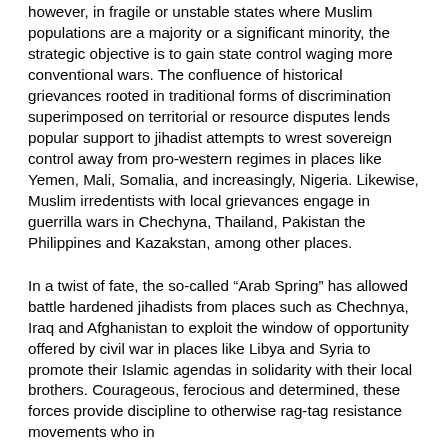however, in fragile or unstable states where Muslim populations are a majority or a significant minority, the strategic objective is to gain state control waging more conventional wars. The confluence of historical grievances rooted in traditional forms of discrimination superimposed on territorial or resource disputes lends popular support to jihadist attempts to wrest sovereign control away from pro-western regimes in places like Yemen, Mali, Somalia, and increasingly, Nigeria. Likewise, Muslim irredentists with local grievances engage in guerrilla wars in Chechyna, Thailand, Pakistan the Philippines and Kazakstan, among other places.
In a twist of fate, the so-called “Arab Spring” has allowed battle hardened jihadists from places such as Chechnya, Iraq and Afghanistan to exploit the window of opportunity offered by civil war in places like Libya and Syria to promote their Islamic agendas in solidarity with their local brothers. Courageous, ferocious and determined, these forces provide discipline to otherwise rag-tag resistance movements who in